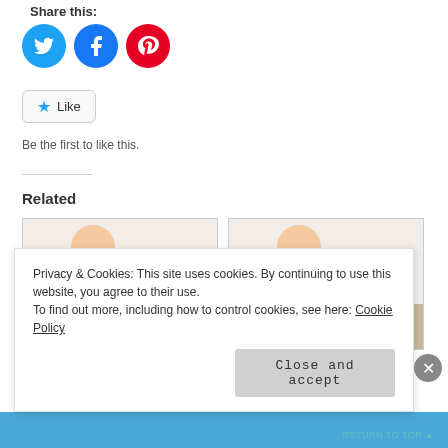Share this:
[Figure (illustration): Three social media icon circles: Twitter (blue bird), Facebook (blue f), Pinterest (red P)]
Like
Be the first to like this.
Related
[Figure (photo): Baby reading books with text 'September 6th - 12th' in pink/red handwritten font]
[Figure (photo): Baby reading books with text 'September 6th - 12th' in pink/red handwritten font]
Privacy & Cookies: This site uses cookies. By continuing to use this website, you agree to their use.
To find out more, including how to control cookies, see here: Cookie Policy
Close and accept